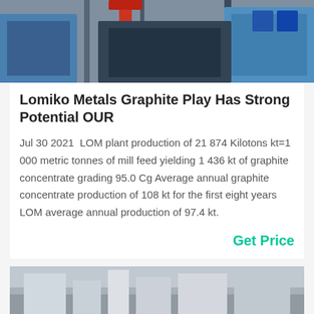[Figure (photo): Industrial machinery/equipment photo, partially visible at top of card, showing blue and red mechanical components.]
Lomiko Metals Graphite Play Has Strong Potential OUR
Jul 30 2021  LOM plant production of 21 874 Kilotons kt=1 000 metric tonnes of mill feed yielding 1 436 kt of graphite concentrate grading 95.0 Cg Average annual graphite concentrate production of 108 kt for the first eight years LOM average annual production of 97.4 kt.
Get Price
[Figure (photo): Industrial or outdoor photo, partially visible at bottom of page.]